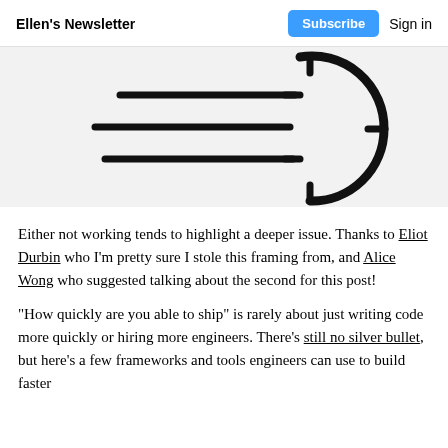Ellen's Newsletter  Subscribe  Sign in
[Figure (illustration): Partial illustration of a clock or circular speedometer with horizontal speed lines radiating from the left side, showing the top-right arc of the circle and tick marks, rendered in thick black lines on a light gray background.]
Either not working tends to highlight a deeper issue. Thanks to Eliot Durbin who I'm pretty sure I stole this framing from, and Alice Wong who suggested talking about the second for this post!
"How quickly are you able to ship" is rarely about just writing code more quickly or hiring more engineers. There's still no silver bullet, but here's a few frameworks and tools engineers can use to build faster